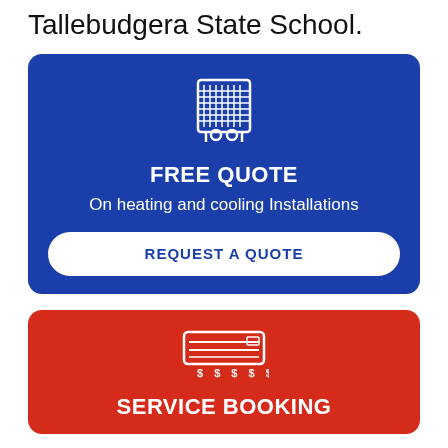Tallebudgera State School.
[Figure (infographic): Blue card with air conditioning unit icon, 'FREE QUOTE' heading, 'On heating and cooling Installations' subtext, and a white 'REQUEST A QUOTE' button]
[Figure (infographic): Red card with air conditioner split system icon and 'SERVICE BOOKING' heading]